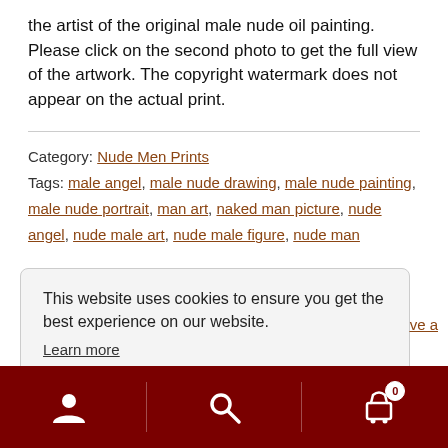the artist of the original male nude oil painting. Please click on the second photo to get the full view of the artwork. The copyright watermark does not appear on the actual print.
Category: Nude Men Prints
Tags: male angel, male nude drawing, male nude painting, male nude portrait, man art, naked man picture, nude angel, nude male art, nude male figure, nude man
This website uses cookies to ensure you get the best experience on our website. Learn more
[Figure (other): Bottom navigation bar with dark red background containing user account icon, search icon, and shopping cart icon with badge showing 0]